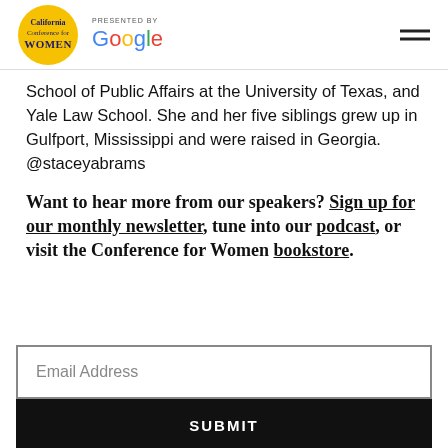[Figure (logo): California Conference for Women logo (yellow circle) presented by Google]
School of Public Affairs at the University of Texas, and Yale Law School. She and her five siblings grew up in Gulfport, Mississippi and were raised in Georgia. @staceyabrams
Want to hear more from our speakers? Sign up for our monthly newsletter, tune into our podcast, or visit the Conference for Women bookstore.
Email Address
SUBMIT